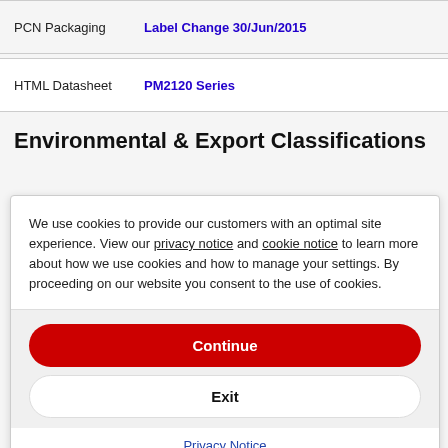| PCN Packaging | Label Change 30/Jun/2015 |
| HTML Datasheet | PM2120 Series |
Environmental & Export Classifications
We use cookies to provide our customers with an optimal site experience. View our privacy notice and cookie notice to learn more about how we use cookies and how to manage your settings. By proceeding on our website you consent to the use of cookies.
Continue
Exit
Privacy Notice